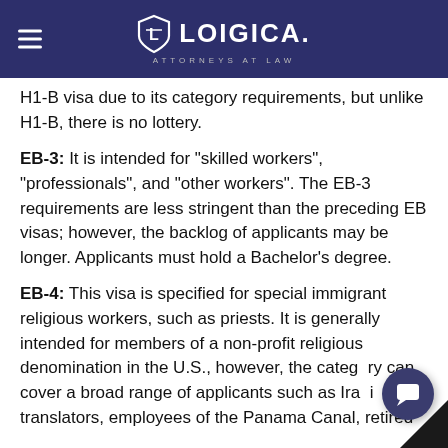LOIGICA. ATTORNEYS AT LAW
H1-B visa due to its category requirements, but unlike H1-B, there is no lottery.
EB-3: It is intended for "skilled workers", "professionals", and "other workers". The EB-3 requirements are less stringent than the preceding EB visas; however, the backlog of applicants may be longer. Applicants must hold a Bachelor's degree.
EB-4: This visa is specified for special immigrant religious workers, such as priests. It is generally intended for members of a non-profit religious denomination in the U.S., however, the category can cover a broad range of applicants such as Iraqi translators, employees of the Panama Canal, retired